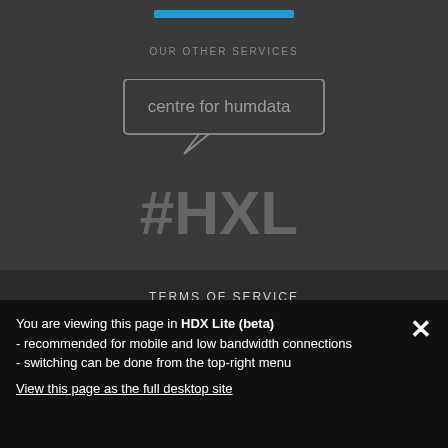[Figure (logo): Blue horizontal bar at top]
OUR OTHER SERVICES
[Figure (logo): Centre for Humdata speech bubble logo with #HXL hashtag text below]
TERMS OF SERVICE
QA PROCESS
OPEN SOURCE ↗
DATA LICENSES
BLOG ↗
You are viewing this page in HDX Lite (beta)
- recommended for mobile and low bandwidth connections
- switching can be done from the top-right menu
View this page as the full desktop site